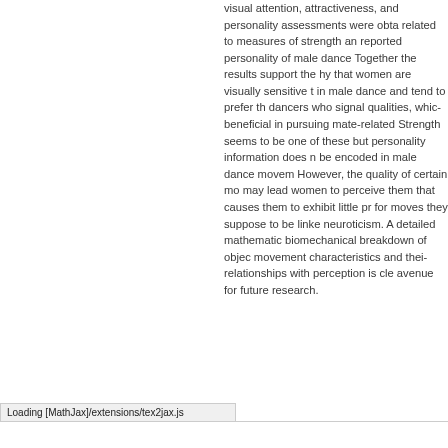visual attention, attractiveness, and personality assessments were obtained, related to measures of strength and reported personality of male dancers. Together the results support the hypothesis that women are visually sensitive to cues in male dance and tend to prefer those dancers who signal qualities, which are beneficial in pursuing mate-related goals. Strength seems to be one of these qualities, but personality information does not seem to be encoded in male dance movements. However, the quality of certain movements may lead women to perceive them in a way that causes them to exhibit little preference for moves they suppose to be linked to neuroticism. A detailed mathematical and biomechanical breakdown of objective movement characteristics and their relationships with perception is clearly an avenue for future research.
Loading [MathJax]/extensions/tex2jax.js